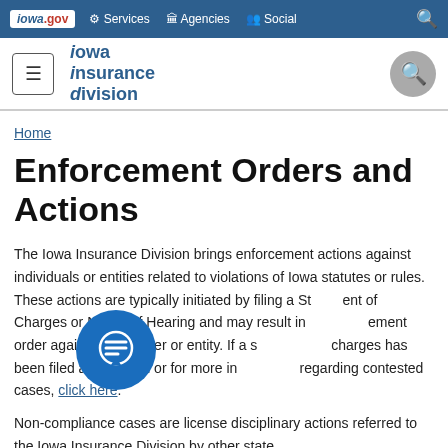iowa.gov | Services | Agencies | Social
[Figure (logo): Iowa Insurance Division logo with hamburger menu and search icon]
Home
Enforcement Orders and Actions
The Iowa Insurance Division brings enforcement actions against individuals or entities related to violations of Iowa statutes or rules. These actions are typically initiated by filing a Statement of Charges or Notice of Hearing and may result in an enforcement order against a producer or entity. If a statement of charges has been filed against you or for more information regarding contested cases, click here.
Non-compliance cases are license disciplinary actions referred to the Iowa Insurance Division by other state